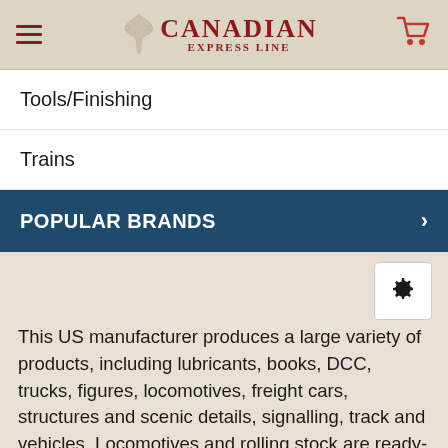Canadian Express Line
Tools/Finishing
Trains
POPULAR BRANDS
This US manufacturer produces a large variety of products, including lubricants, books, DCC, trucks, figures, locomotives, freight cars, structures and scenic details, signalling, track and vehicles. Locomotives and rolling stock are ready-to-run and generally in limited production runs. The major Canadian railways are covered, plus several of the lesser known roads, from time to time. We only list